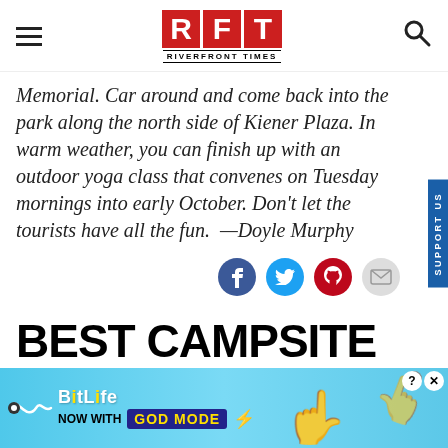RFT - RIVERFRONT TIMES
Memorial. Can around and come back into the park along the north side of Kiener Plaza. In warm weather, you can finish up with an outdoor yoga class that convenes on Tuesday mornings into early October. Don't let the tourists have all the fun. —Doyle Murphy
BEST CAMPSITE WITHIN AN HOUR OF ST. LOUIS:
[Figure (other): BitLife advertisement banner: BitLife Now With GOD MODE]
SUPPORT US